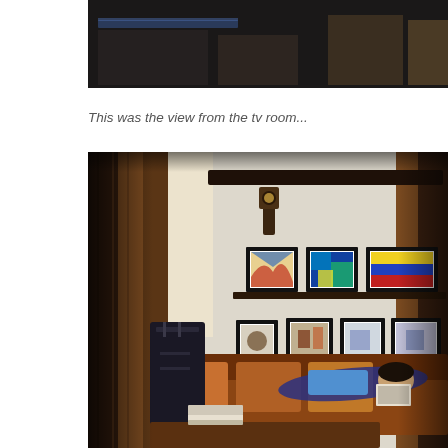[Figure (photo): Partial photo at top showing dark room interior with desk/furniture items, cropped at top of page]
This was the view from the tv room...
[Figure (photo): Interior photo of a TV room/living room with orange sofa, brown curtains, wall shelves with framed artwork (3 on top shelf, 4 on bottom shelf), a cuckoo clock, and a child lying on the couch reading. A dark suitcase is on the floor and books are on the coffee table.]